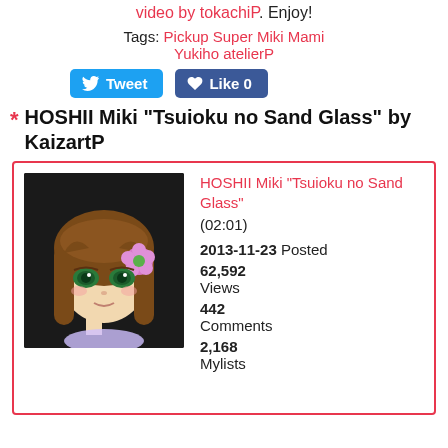video by tokachiP. Enjoy!
Tags: Pickup Super Miki Mami Yukiho atelierP
[Figure (other): Tweet and Like 0 social buttons]
HOSHII Miki "Tsuioku no Sand Glass" by KaizartP
[Figure (other): Card with anime thumbnail of HOSHII Miki character with brown hair and flower, alongside info: HOSHII Miki "Tsuioku no Sand Glass" (02:01), 2013-11-23 Posted, 62,592 Views, 442 Comments, 2,168 Mylists]